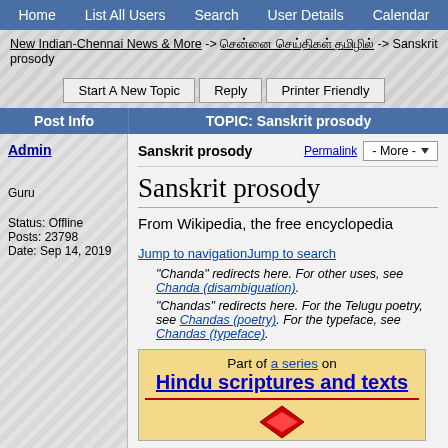Home  |  List All Users  |  Search  |  User Details  |  Calendar
New Indian-Chennai News & More -> சென்னை செய்திகள் தமிழில் -> Sanskrit prosody
Start A New Topic  Reply  Printer Friendly
| Post Info | TOPIC: Sanskrit prosody |
| --- | --- |
| Admin
Guru
Status: Offline
Posts: 23798
Date: Sep 14, 2019 | Sanskrit prosody
Permalink  - More -

Sanskrit prosody

From Wikipedia, the free encyclopedia

Jump to navigationJump to search
"Chanda" redirects here. For other uses, see Chanda (disambiguation).
"Chandas" redirects here. For the Telugu poetry, see Chandas (poetry). For the typeface, see Chandas (typeface).

Part of a series on
Hindu scriptures and texts |
Part of a series on Hindu scriptures and texts